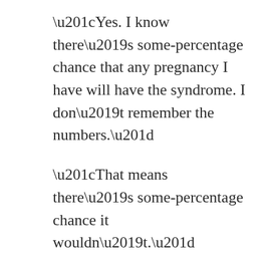“Yes. I know there’s some-percentage chance that any pregnancy I have will have the syndrome. I don’t remember the numbers.”
“That means there’s some-percentage chance it wouldn’t.”
“I know.”
I waited. Theresa stared